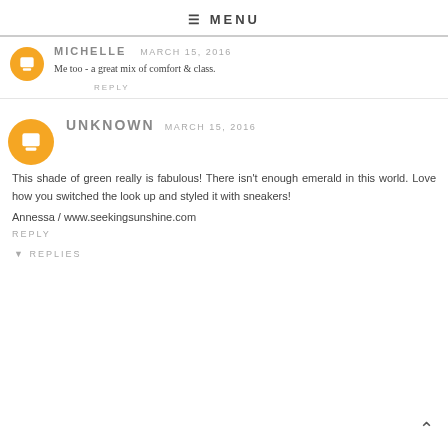≡ MENU
MICHELLE   MARCH 15, 2016
Me too - a great mix of comfort & class.
REPLY
UNKNOWN   MARCH 15, 2016
This shade of green really is fabulous! There isn't enough emerald in this world. Love how you switched the look up and styled it with sneakers!
Annessa / www.seekingsunshine.com
REPLY
▾ REPLIES